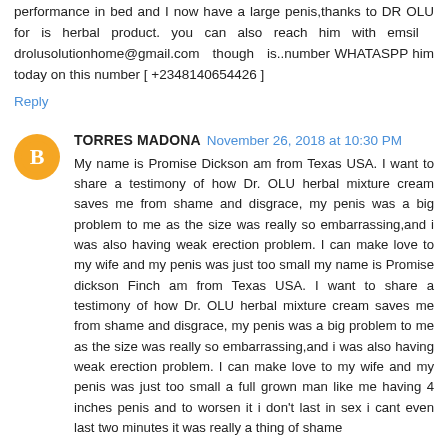performance in bed and I now have a large penis,thanks to DR OLU for is herbal product. you can also reach him with emsil drolusolutionhome@gmail.com though is..number WHATASPP him today on this number [ +2348140654426 ]
Reply
TORRES MADONA  November 26, 2018 at 10:30 PM
My name is Promise Dickson am from Texas USA. I want to share a testimony of how Dr. OLU herbal mixture cream saves me from shame and disgrace, my penis was a big problem to me as the size was really so embarrassing,and i was also having weak erection problem. I can make love to my wife and my penis was just too small my name is Promise dickson Finch am from Texas USA. I want to share a testimony of how Dr. OLU herbal mixture cream saves me from shame and disgrace, my penis was a big problem to me as the size was really so embarrassing,and i was also having weak erection problem. I can make love to my wife and my penis was just too small a full grown man like me having 4 inches penis and to worsen it i don't last in sex i cant even last two minutes it was really a thing of shame